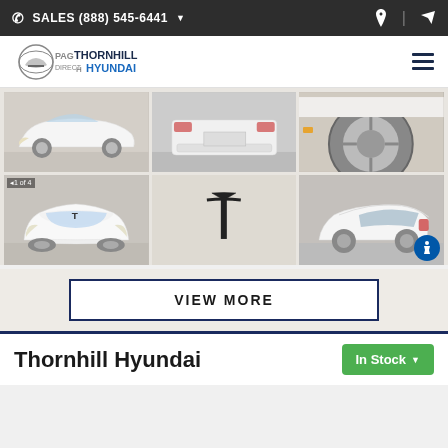SALES (888) 545-6441
[Figure (logo): PAG Thornhill Direct Hyundai logo with car emblem]
[Figure (photo): Grid of 6 car photos showing a white Tesla Model 3 from various angles including front, rear, side, and interior details]
VIEW MORE
Thornhill Hyundai
In Stock